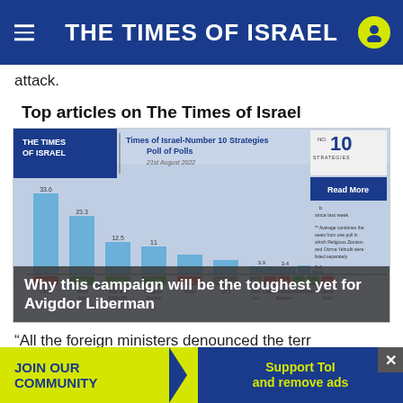THE TIMES OF ISRAEL
attack.
Top articles on The Times of Israel
[Figure (screenshot): Times of Israel-Number 10 Strategies Poll of Polls, 21st August 2022. Bar chart showing poll results for various Israeli political parties. Bars shown for Likud (33.6), Yesh Atid (23.3), Blue and White NH (12.5), Religious Zionism, Shas, UTJ, Joint List, Labor, Yisrael Beytenu, Ra'am, Meretz, Zionist Spirit.]
Why this campaign will be the toughest yet for Avigdor Liberman
“All the foreign ministers denounced the terror attack... famili...
JOIN OUR COMMUNITY    Support ToI and remove ads